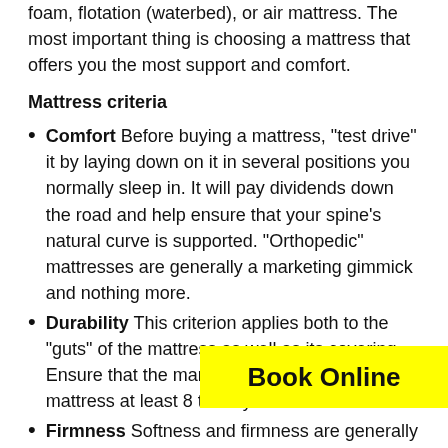foam, flotation (waterbed), or air mattress. The most important thing is choosing a mattress that offers you the most support and comfort.
Mattress criteria
Comfort Before buying a mattress, "test drive" it by laying down on it in several positions you normally sleep in. It will pay dividends down the road and help ensure that your spine's natural curve is supported. "Orthopedic" mattresses are generally a marketing gimmick and nothing more.
Durability This criterion applies both to the "guts" of the mattress as well as its covering. Ensure that the manufacturer guarantees the mattress at least 8 to 10 years.
Firmness Softness and firmness are generally a matter of personal preference and have little to do with a good night's sleep or avoiding back problems. Overly firm mattresses don't support the body evenly, while overly soft mattresses tend to sag, preventing your spine from maintaining...
Foundation The foundation, or b... of the stress and weight of your mattress and helps extend the useful life of your mattress. It is advisable to buy a new box spring...
[Figure (other): Yellow 'Book Online' banner overlay]